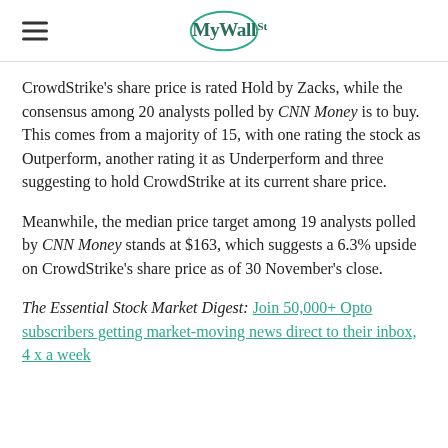MyWallSt
CrowdStrike's share price is rated Hold by Zacks, while the consensus among 20 analysts polled by CNN Money is to buy. This comes from a majority of 15, with one rating the stock as Outperform, another rating it as Underperform and three suggesting to hold CrowdStrike at its current share price.
Meanwhile, the median price target among 19 analysts polled by CNN Money stands at $163, which suggests a 6.3% upside on CrowdStrike's share price as of 30 November's close.
The Essential Stock Market Digest: Join 50,000+ Opto subscribers getting market-moving news direct to their inbox, 4 x a week